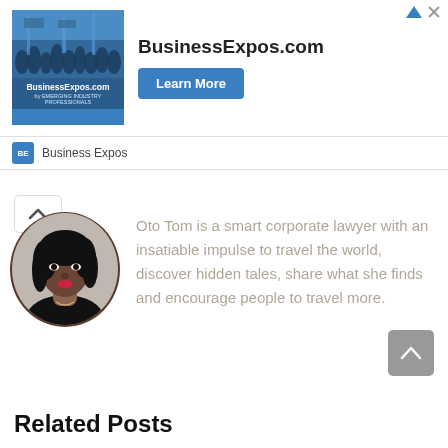[Figure (screenshot): BusinessExpos.com advertisement banner with logo image showing crowd, bold title text, and Learn More button]
OTO TOM
[Figure (photo): Circular profile photo of Oto Tom, a woman with dark hair]
Oto Tom is a smart corporate lawyer with an insatiable impulse to travel the world, discover hidden tales, share what she finds and encourage people to travel more.
Related Posts